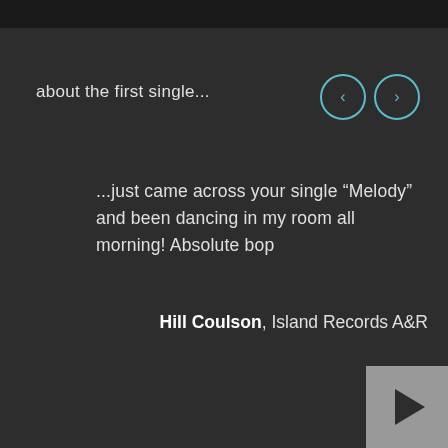about the first single...
[Figure (other): Navigation buttons: left arrow and right arrow in teal circles]
…just came across your single “Melody” and been dancing in my room all morning! Absolute bop
Hill Coulson, Island Records A&R
[Figure (other): Play button: grey square with dark triangle play icon]